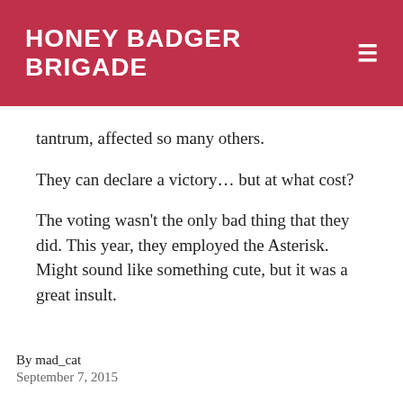HONEY BADGER BRIGADE
tantrum, affected so many others.
They can declare a victory… but at what cost?
The voting wasn't the only bad thing that they did. This year, they employed the Asterisk. Might sound like something cute, but it was a great insult.
[Figure (photo): Dark image with purple text reading 'Sasquan Hugo Asterisk']
By mad_cat
September 7, 2015